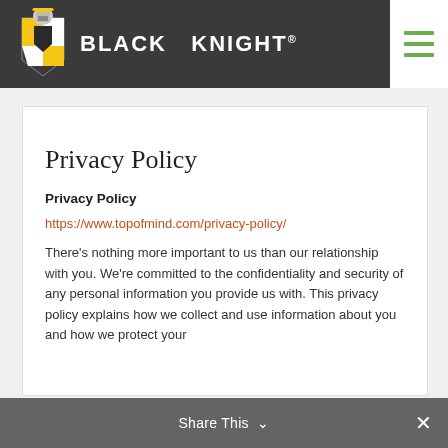[Figure (logo): Black Knight logo with knight chess piece graphic and company name in white text on dark gray header bar]
Privacy Policy
Privacy Policy
https://www.topofmind.com/privacy-policy/
There’s nothing more important to us than our relationship with you. We’re committed to the confidentiality and security of any personal information you provide us with. This privacy policy explains how we collect and use information about you and how we protect your
Share This